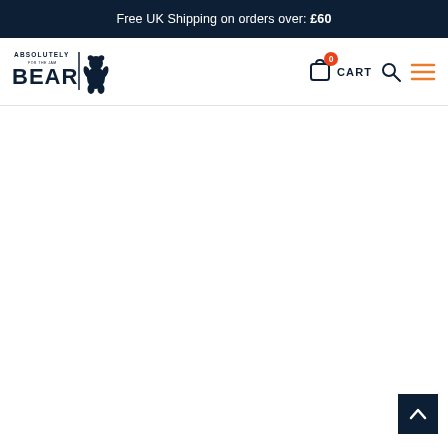Free UK Shipping on orders over: £60
[Figure (logo): Absolutely Bear logo with bear silhouette and text]
[Figure (infographic): Navigation icons: cart with 0 badge, CART text, search icon, hamburger menu in orange]
[Figure (other): Back to top button with chevron up arrow]